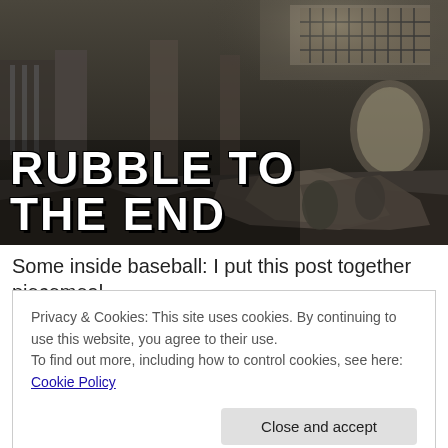[Figure (photo): Dark post-apocalyptic ruined building interior scene with debris, columns, and broken architecture. Two figures visible in lower right area. Large bold white text overlaid reads 'RUBBLE TO THE END'.]
RUBBLE TO THE END
Some inside baseball: I put this post together piecemeal
Privacy & Cookies: This site uses cookies. By continuing to use this website, you agree to their use.
To find out more, including how to control cookies, see here: Cookie Policy
Close and accept